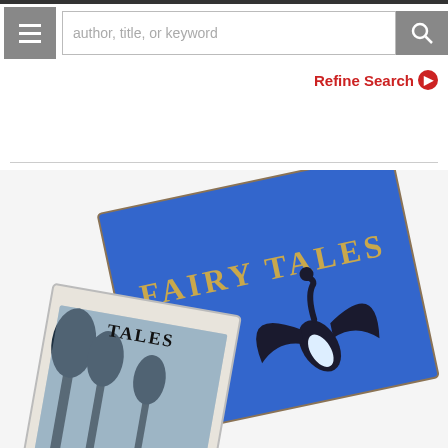author, title, or keyword
Refine Search ▶
View Details
[Figure (photo): Two books with 'Fairy Tales' on the covers, one blue with gold lettering and a stork illustration, one lighter colored, overlapping each other on a white background.]